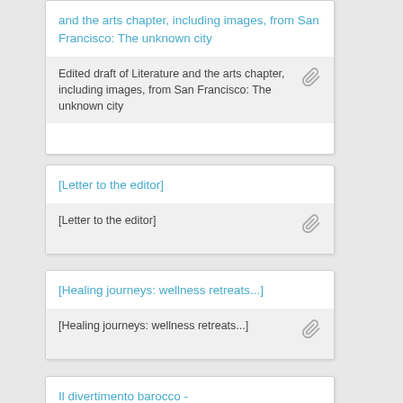and the arts chapter, including images, from San Francisco: The unknown city
Edited draft of Literature and the arts chapter, including images, from San Francisco: The unknown city
[Letter to the editor]
[Letter to the editor]
[Healing journeys: wellness retreats...]
[Healing journeys: wellness retreats...]
Il divertimento barocco -